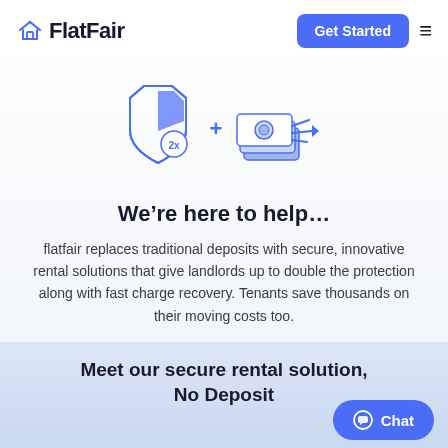[Figure (logo): FlatFair logo with house/roof icon and wordmark 'FlatFair']
[Figure (illustration): Illustrated icons: a shield with '2x' badge and a stack of money/cash with an arrow, connected by a plus sign. Blue and white line art style.]
We’re here to help…
flatfair replaces traditional deposits with secure, innovative rental solutions that give landlords up to double the protection along with fast charge recovery. Tenants save thousands on their moving costs too.
Meet our secure rental solution, No Deposit